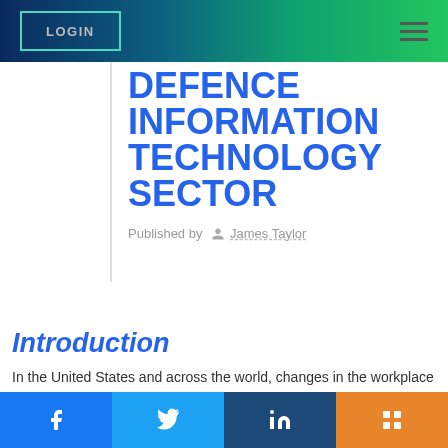LOGIN
DEFENCE INFORMATION TECHNOLOGY SECTOR
Published by James Taylor
Introduction
In the United States and across the world, changes in the workplace demographics have an impact on leadership and management of organisations. Currently, the typical workplace has multi-generational workforce characterised by
[Figure (other): Social share buttons: Facebook, Twitter, LinkedIn, Mix]